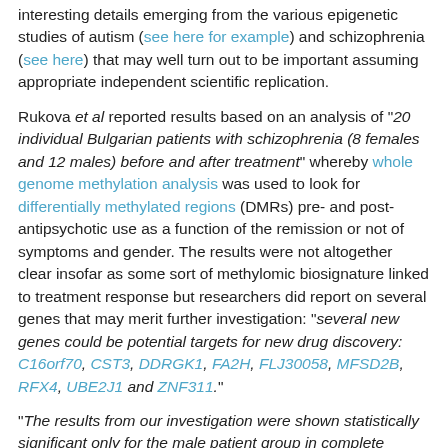interesting details emerging from the various epigenetic studies of autism (see here for example) and schizophrenia (see here) that may well turn out to be important assuming appropriate independent scientific replication.
Rukova et al reported results based on an analysis of "20 individual Bulgarian patients with schizophrenia (8 females and 12 males) before and after treatment" whereby whole genome methylation analysis was used to look for differentially methylated regions (DMRs) pre- and post-antipsychotic use as a function of the remission or not of symptoms and gender. The results were not altogether clear insofar as some sort of methylomic biosignature linked to treatment response but researchers did report on several genes that may merit further investigation: "several new genes could be potential targets for new drug discovery: C16orf70, CST3, DDRGK1, FA2H, FLJ30058, MFSD2B, RFX4, UBE2J1 and ZNF311."
"The results from our investigation were shown statistically significant only for the male patient group in complete remission. This points out that epigenetic modification by